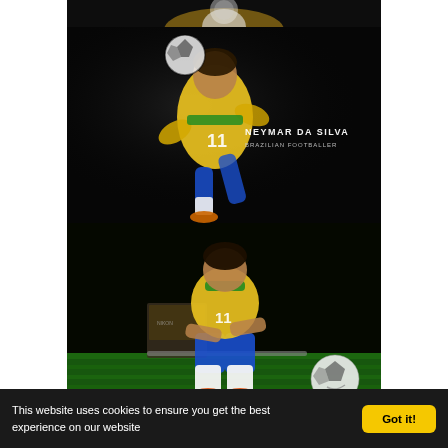[Figure (photo): Partial top of a soccer player image — dark background, cropped at top]
[Figure (photo): Neymar da Silva in Brazil yellow number 11 jersey, kicking a soccer ball against a dark background, with text overlay reading 'NEYMAR DA SILVA' and 'BRAZILIAN FOOTBALLER']
[Figure (photo): Neymar da Silva in Brazil yellow number 11 jersey sitting on a bench on green grass, with a soccer ball to his right, dark studio background]
This website uses cookies to ensure you get the best experience on our website
Got it!